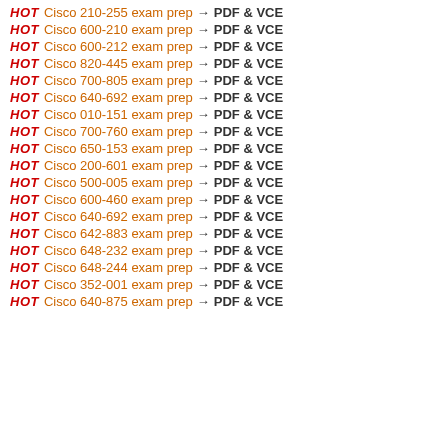HOT Cisco 210-255 exam prep → PDF & VCE
HOT Cisco 600-210 exam prep → PDF & VCE
HOT Cisco 600-212 exam prep → PDF & VCE
HOT Cisco 820-445 exam prep → PDF & VCE
HOT Cisco 700-805 exam prep → PDF & VCE
HOT Cisco 640-692 exam prep → PDF & VCE
HOT Cisco 010-151 exam prep → PDF & VCE
HOT Cisco 700-760 exam prep → PDF & VCE
HOT Cisco 650-153 exam prep → PDF & VCE
HOT Cisco 200-601 exam prep → PDF & VCE
HOT Cisco 500-005 exam prep → PDF & VCE
HOT Cisco 600-460 exam prep → PDF & VCE
HOT Cisco 640-692 exam prep → PDF & VCE
HOT Cisco 642-883 exam prep → PDF & VCE
HOT Cisco 648-232 exam prep → PDF & VCE
HOT Cisco 648-244 exam prep → PDF & VCE
HOT Cisco 352-001 exam prep → PDF & VCE
HOT Cisco 640-875 exam prep → PDF & VCE